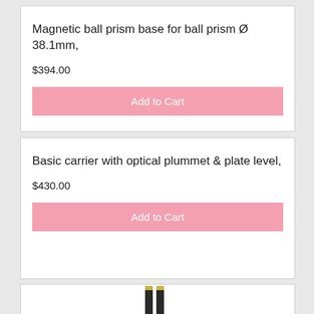Magnetic ball prism base for ball prism Ø 38.1mm,
$394.00
Add to Cart
Basic carrier with optical plummet & plate level,
$430.00
Add to Cart
[Figure (photo): Two dark surveying rods or poles, shown side by side, partially visible at the bottom of the page]